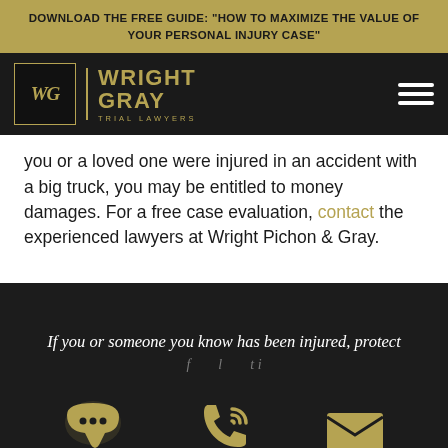DOWNLOAD THE FREE GUIDE: "HOW TO MAXIMIZE THE VALUE OF YOUR PERSONAL INJURY CASE"
[Figure (logo): Wright Gray Trial Lawyers logo — WG monogram in gold on black box, beside bold gold text WRIGHT GRAY with TRIAL LAWYERS subtitle, on dark background with hamburger menu icon]
you or a loved one were injured in an accident with a big truck, you may be entitled to money damages. For a free case evaluation, contact the experienced lawyers at Wright Pichon & Gray.
If you or someone you know has been injured, protect
[Figure (infographic): Three gold icons at the bottom of dark footer: speech bubble with ellipsis (chat), telephone receiver with signal waves, and envelope (email)]